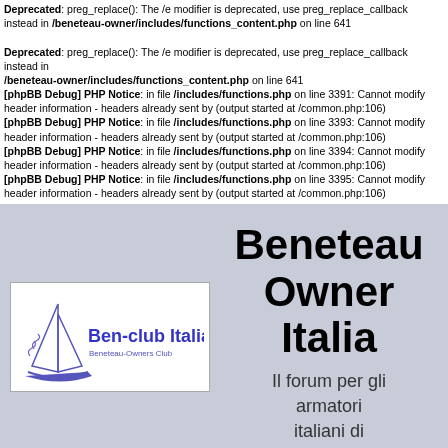Deprecated: preg_replace(): The /e modifier is deprecated, use preg_replace_callback instead in /beneteau-owner/includes/functions_content.php on line 641
Deprecated: preg_replace(): The /e modifier is deprecated, use preg_replace_callback instead in /beneteau-owner/includes/functions_content.php on line 641
[phpBB Debug] PHP Notice: in file /includes/functions.php on line 3391: Cannot modify header information - headers already sent by (output started at /common.php:106)
[phpBB Debug] PHP Notice: in file /includes/functions.php on line 3393: Cannot modify header information - headers already sent by (output started at /common.php:106)
[phpBB Debug] PHP Notice: in file /includes/functions.php on line 3394: Cannot modify header information - headers already sent by (output started at /common.php:106)
[phpBB Debug] PHP Notice: in file /includes/functions.php on line 3395: Cannot modify header information - headers already sent by (output started at /common.php:106)
[Figure (logo): Ben-club Italia / Beneteau-Owners Club logo with sailing boat graphic in blue and purple]
Beneteau Owner Italia
Il forum per gli armatori italiani di barche del cantiere Beneteau
⊙ Login  ✓ Iscriviti  ? FAQ  🔍 Cerca
Oggi è 27/08/2022, 20:07